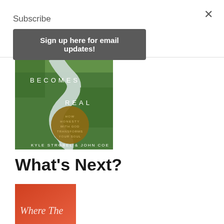Subscribe
Sign up here for email updates!
×
[Figure (illustration): Book cover showing aerial view of a winding river through green landscape. Text reads: BECOMES REAL, HOW HONESTY WITH GOD TRANSFORMS YOUR SOUL, KYLE STROBEL & JOHN COE]
What's Next?
[Figure (illustration): Partial book cover with red/orange background, text reads 'Where The']